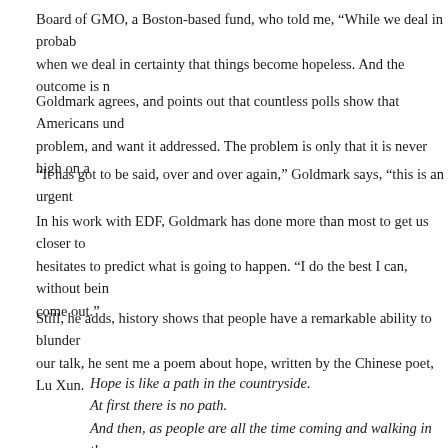Board of GMO, a Boston-based fund, who told me, “While we deal in probabilities, when we deal in certainty that things become hopeless. And the outcome is n…
Goldmark agrees, and points out that countless polls show that Americans understand the problem, and want it addressed. The problem is only that it is never high on a…
“It has got to be said, over and over again,” Goldmark says, “this is an urgent…
In his work with EDF, Goldmark has done more than most to get us closer to… hesitates to predict what is going to happen. “I do the best I can, without being… come out.”
Still, he adds, history shows that people have a remarkable ability to blunder… our talk, he sent me a poem about hope, written by the Chinese poet, Lu Xun.
Hope is like a path in the countryside.
At first there is no path.
And then, as people are all the time coming and walking in the same wa… a path appears.